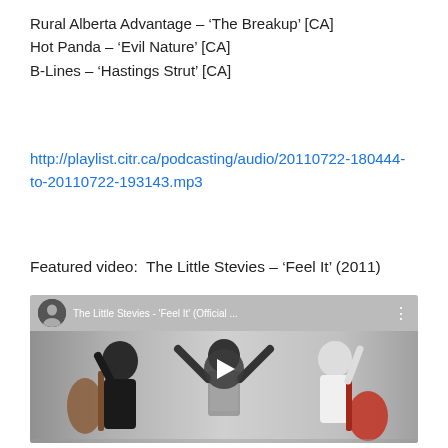Rural Alberta Advantage – ‘The Breakup’ [CA]
Hot Panda – ‘Evil Nature’ [CA]
B-Lines – ‘Hastings Strut’ [CA]
http://playlist.citr.ca/podcasting/audio/20110722-180444-to-20110722-193143.mp3
Featured video:  The Little Stevies – ‘Feel It’ (2011)
[Figure (screenshot): YouTube video thumbnail for The Little Stevies - 'Feel It' (Official ...) showing three musicians posing against a light background, with a play button overlay.]